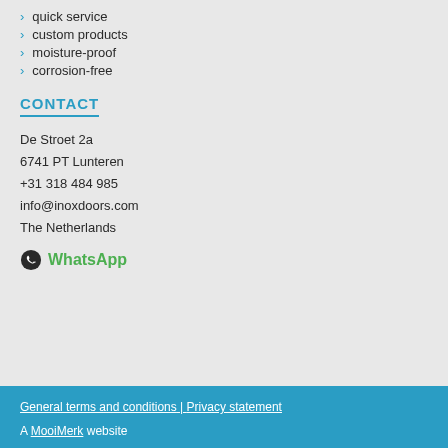quick service
custom products
moisture-proof
corrosion-free
CONTACT
De Stroet 2a
6741 PT Lunteren
+31 318 484 985
info@inoxdoors.com
The Netherlands
WhatsApp
General terms and conditions | Privacy statement
A MooiMerk website